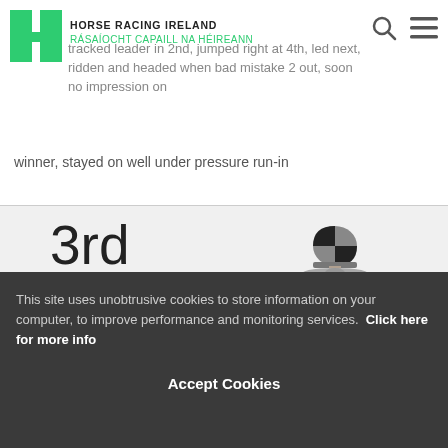HORSE RACING IRELAND
RÁSAÍOCHT CAPAILL NA HÉIREANN
tracked leader in 2nd, jumped right at 4th, led next, ridden and headed when bad mistake 2 out, soon no impression on winner, stayed on well under pressure run-in
3rd
8½ lengths
[Figure (illustration): Jockey silks illustration: grey jacket with black square on chest, grey and black quartered helmet]
E. Walsh (5)
11. Butty O Brien
6YO  B  F  Mustameet (USA) - Starry Lady
Owner: Black Steel Square Syndicate
This site uses unobtrusive cookies to store information on your computer, to improve performance and monitoring services. Click here for more info
Accept Cookies